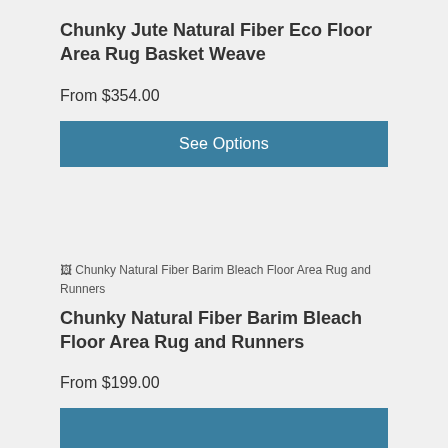Chunky Jute Natural Fiber Eco Floor Area Rug Basket Weave
From $354.00
See Options
[Figure (photo): Broken image placeholder for Chunky Natural Fiber Barim Bleach Floor Area Rug and Runners]
Chunky Natural Fiber Barim Bleach Floor Area Rug and Runners
From $199.00